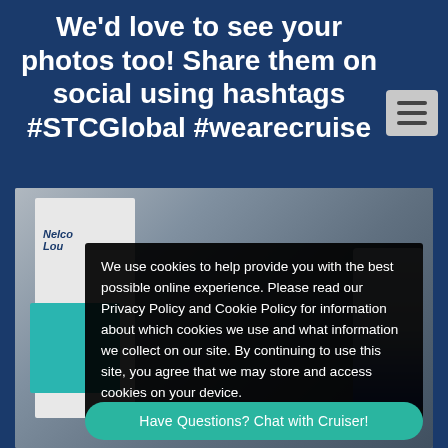We'd love to see your photos too! Share them on social using hashtags #STCGlobal #wearecruise
[Figure (screenshot): Menu/hamburger button icon with three horizontal lines on a grey background]
[Figure (photo): Conference or exhibition booth scene with white and teal booth structures, a person seated on the right, and blue/teal branding. Overlay shows a cookie consent notice.]
We use cookies to help provide you with the best possible online experience. Please read our Privacy Policy and Cookie Policy for information about which cookies we use and what information we collect on our site. By continuing to use this site, you agree that we may store and access cookies on your device.
Have Questions? Chat with Cruiser!